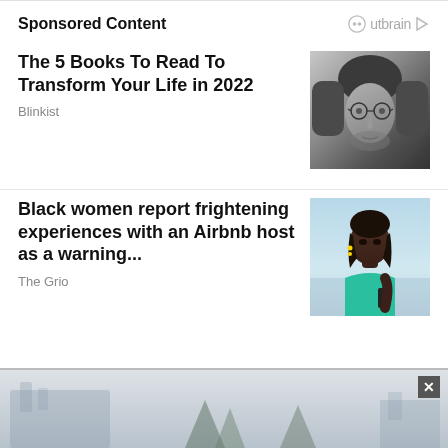Sponsored Content
The 5 Books To Read To Transform Your Life in 2022
Blinkist
[Figure (photo): Black and white portrait of a young man with long hair and round glasses]
Black women report frightening experiences with an Airbnb host as a warning...
The Grio
[Figure (photo): Photo of a Black woman in a teal swimsuit top outdoors near water]
[Figure (photo): Advertisement banner showing a misty outdoor scene with trees and a building, with a close button]